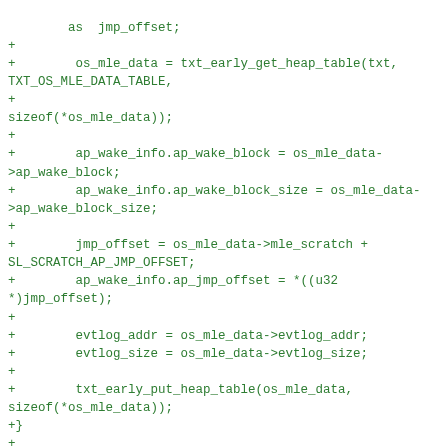[Figure (screenshot): A code diff snippet in green monospace font showing C code additions (lines prefixed with '+') for a Linux kernel or similar system-level module, including os_mle_data heap table retrieval, ap_wake_info assignments, jmp_offset calculation, evtlog address/size assignments, txt_early_put_heap_table call, closing brace, a new comment block about Intel specific late stub setup and validation, and the beginning of a static void __init slaunch_setup_intel(void) function with local variable declarations.]